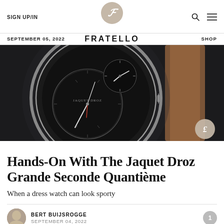SIGN UP/IN | FRATELLO | SHOP
SEPTEMBER 05, 2022
[Figure (photo): Close-up photo of a Jaquet Droz Grande Seconde Quantième watch with a dark dial showing dual subdials, silver case, and brown leather strap on a dark background. A Fratello watermark appears in the bottom right.]
Hands-On With The Jaquet Droz Grande Seconde Quantième
When a dress watch can look sporty
BERT BUIJSROGGE
SEPTEMBER 04, 2022